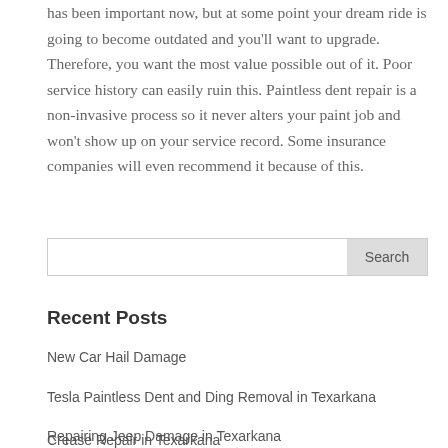has been important now, but at some point your dream ride is going to become outdated and you'll want to upgrade. Therefore, you want the most value possible out of it. Poor service history can easily ruin this. Paintless dent repair is a non-invasive process so it never alters your paint job and won't show up on your service record. Some insurance companies will even recommend it because of this.
Search
Recent Posts
New Car Hail Damage
Tesla Paintless Dent and Ding Removal in Texarkana
Repairing Jeep Damage in Texarkana
Facts about Paintless Dent Removal in Texarkana, TX
Crease Repair in Texarkana